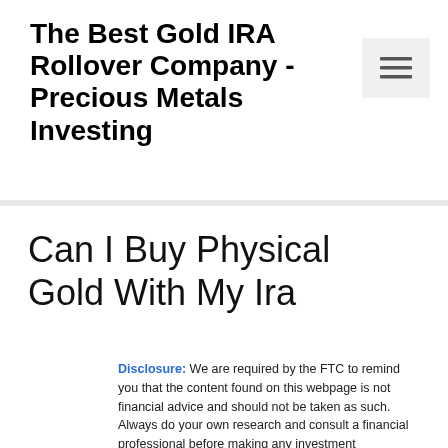The Best Gold IRA Rollover Company - Precious Metals Investing
[Figure (other): Hamburger menu button icon (three horizontal lines) in a light gray square box]
Can I Buy Physical Gold With My Ira
Disclosure: We are required by the FTC to remind you that the content found on this webpage is not financial advice and should not be taken as such. Always do your own research and consult a financial professional before making any investment